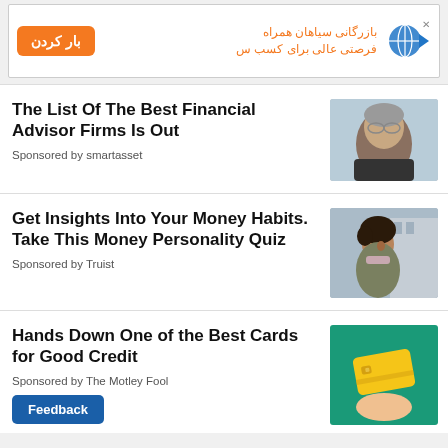[Figure (other): Advertisement banner in Farsi with an orange button labeled 'بار کردن', Farsi text 'بازرگانی سیاهان همراه / فرصتی عالی برای کسب س', and a globe/arrow icon.]
The List Of The Best Financial Advisor Firms Is Out
Sponsored by smartasset
[Figure (photo): Photo of an older man with glasses looking at camera.]
Get Insights Into Your Money Habits. Take This Money Personality Quiz
Sponsored by Truist
[Figure (photo): Photo of a young woman smiling outdoors.]
Hands Down One of the Best Cards for Good Credit
Sponsored by The Motley Fool
[Figure (photo): Image of a yellow credit card held above a hand, teal/green background.]
Feedback